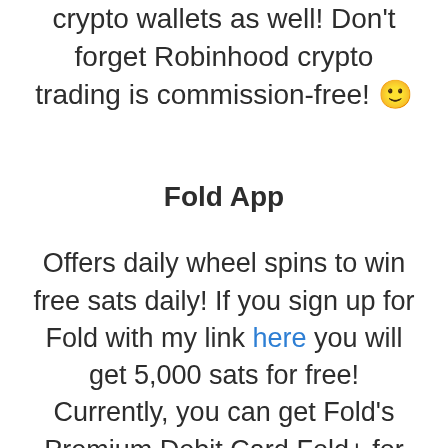crypto wallets as well! Don't forget Robinhood crypto trading is commission-free! 🙂
Fold App
Offers daily wheel spins to win free sats daily! If you sign up for Fold with my link here you will get 5,000 sats for free! Currently, you can get Fold's Premium Debit Card Fold+ for free until February 1st. If you sign up for that as well we each